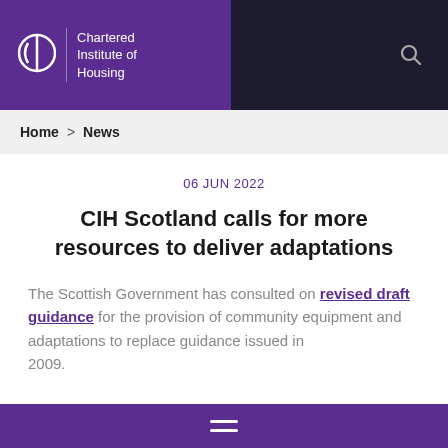Chartered Institute of Housing
Home > News
06 JUN 2022
CIH Scotland calls for more resources to deliver adaptations
The Scottish Government has consulted on revised draft guidance for the provision of community equipment and adaptations to replace guidance issued in 2009.